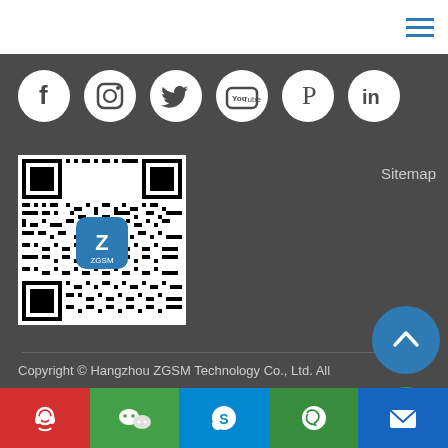Menu/hamburger icon
[Figure (illustration): Row of 6 social media icons (Facebook, Instagram, Twitter, YouTube, Pinterest, LinkedIn) as white circles on dark background]
[Figure (other): QR code for ZGSM with blue ZGSM logo in center]
Sitemap
Copyright © Hangzhou ZGSM Technology Co., Ltd. All Rights Reserved
[Figure (illustration): Back to top button - blue circle with upward chevron]
[Figure (illustration): Green circle chat/support button with person icon]
Bottom contact bar: QQ, WeChat, Skype, WhatsApp, Email icons